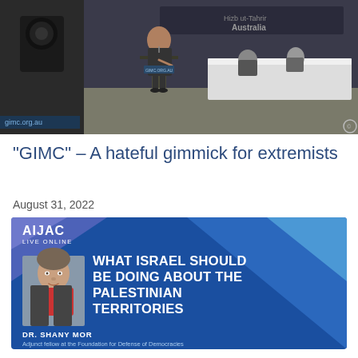[Figure (photo): Conference photo showing a speaker at a podium on stage with banner reading 'gimc.org.au' and 'Australia', two seated panelists in background at a table with white cloth, conference setting]
“GIMC” – A hateful gimmick for extremists
August 31, 2022
[Figure (screenshot): AIJAC Live Online promotional banner with blue background and geometric shapes. Text reads: 'WHAT ISRAEL SHOULD BE DOING ABOUT THE PALESTINIAN TERRITORIES' with speaker Dr. Shany Mor, Adjunct fellow at the Foundation for Defense of Democracies. Includes headshot photo of Dr. Mor.]